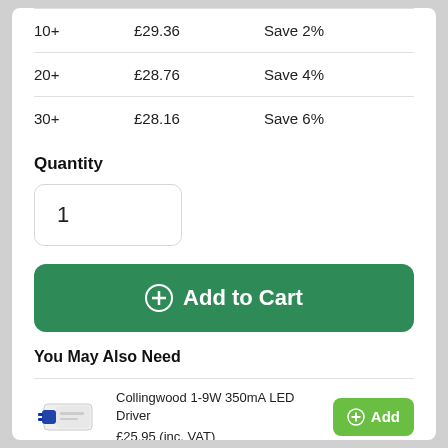| Quantity | Price | Discount |
| --- | --- | --- |
| 10+ | £29.36 | Save 2% |
| 20+ | £28.76 | Save 4% |
| 30+ | £28.16 | Save 6% |
Quantity
1
⊕ Add to Cart
You May Also Need
Collingwood 1-9W 350mA LED Driver
£25.95 (inc. VAT)
⊕ Add